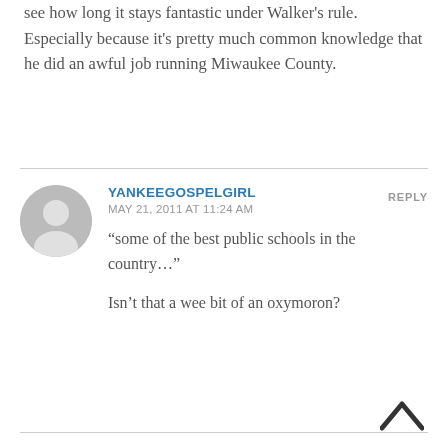see how long it stays fantastic under Walker's rule. Especially because it's pretty much common knowledge that he did an awful job running Miwaukee County.
YANKEEGOSPELGIRL
MAY 21, 2011 AT 11:24 AM
REPLY
“some of the best public schools in the country…”

Isn’t that a wee bit of an oxymoron?